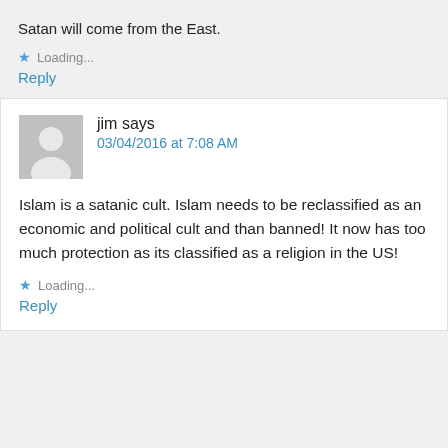Satan will come from the East.
★ Loading...
Reply
jim says
03/04/2016 at 7:08 AM
Islam is a satanic cult. Islam needs to be reclassified as an economic and political cult and than banned! It now has too much protection as its classified as a religion in the US!
★ Loading...
Reply